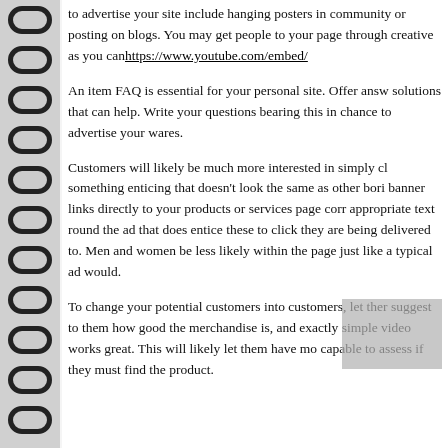to advertise your site include hanging posters in community or posting on blogs. You may get people to your page through creative as you canhttps://www.youtube.com/embed/
An item FAQ is essential for your personal site. Offer answers and solutions that can help. Write your questions bearing this in mind, as a chance to advertise your wares.
Customers will likely be much more interested in simply clicking something enticing that doesn't look the same as other boring banner links directly to your products or services page correctly. appropriate text round the ad that does entice these to click on they are being delivered to. Men and women be less likely within the page just like a typical ad would.
To change your potential customers into customers, let them suggest to them how good the merchandise is, and exactly simple video works great. This will likely let them have more capable to assess if they must find the product.